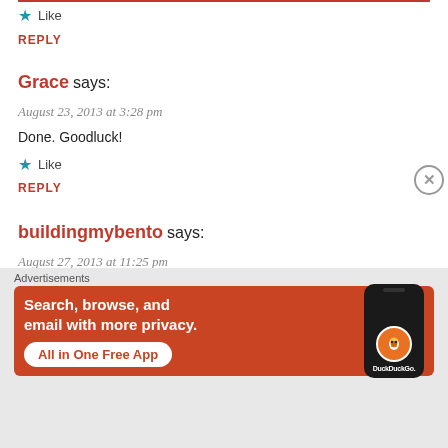★ Like
REPLY
Grace says:
August 23, 2013 at 3:28 pm
Done. Goodluck!
★ Like
REPLY
buildingmybento says:
August 27, 2013 at 11:25 pm
[Figure (infographic): DuckDuckGo advertisement banner: orange background with text 'Search, browse, and email with more privacy. All in One Free App' and a phone mockup showing DuckDuckGo logo]